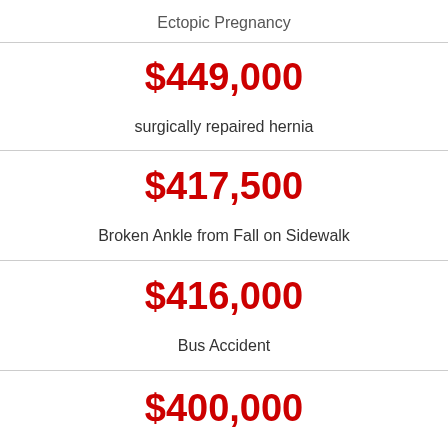Ectopic Pregnancy
$449,000
surgically repaired hernia
$417,500
Broken Ankle from Fall on Sidewalk
$416,000
Bus Accident
$400,000